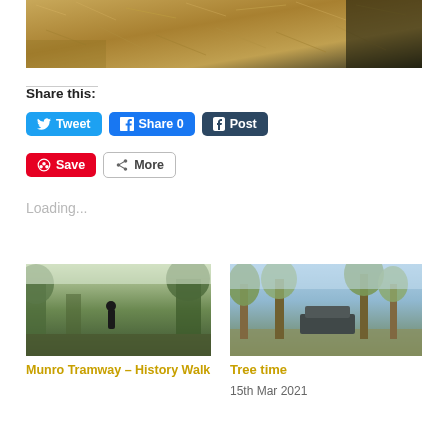[Figure (photo): Top portion of a photo showing dry grass/dirt terrain with shadows]
Share this:
Tweet  Share 0  Post  Save  More
Loading...
[Figure (photo): Person walking on a bush trail - Munro Tramway History Walk]
Munro Tramway – History Walk
[Figure (photo): Campsite with trees - Tree time]
Tree time
15th Mar 2021